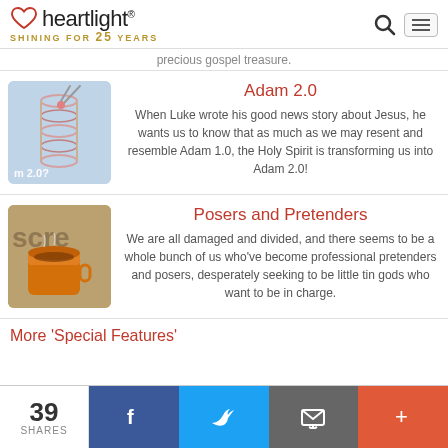heartlight® SHINING FOR 25 YEARS
precious gospel treasure.
Adam 2.0
When Luke wrote his good news story about Jesus, he wants us to know that as much as we may resent and resemble Adam 1.0, the Holy Spirit is transforming us into Adam 2.0!
Posers and Pretenders
We are all damaged and divided, and there seems to be a whole bunch of us who've become professional pretenders and posers, desperately seeking to be little tin gods who want to be in charge.
More 'Special Features'
39 SHARES